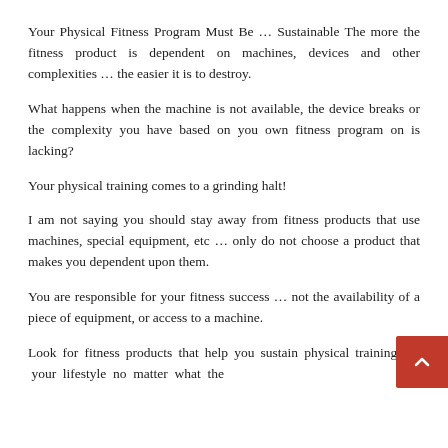Your Physical Fitness Program Must Be … Sustainable The more the fitness product is dependent on machines, devices and other complexities … the easier it is to destroy.
What happens when the machine is not available, the device breaks or the complexity you have based on you own fitness program on is lacking?
Your physical training comes to a grinding halt!
I am not saying you should stay away from fitness products that use machines, special equipment, etc … only do not choose a product that makes you dependent upon them.
You are responsible for your fitness success … not the availability of a piece of equipment, or access to a machine.
Look for fitness products that help you sustain physical training in your lifestyle no matter what the